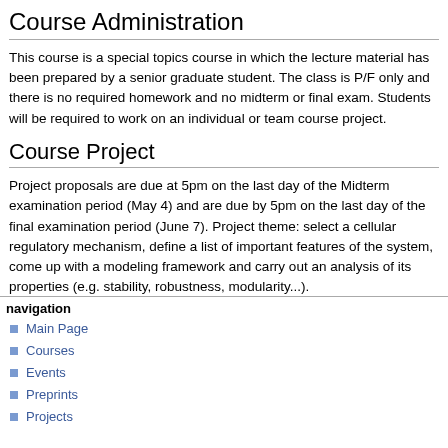Course Administration
This course is a special topics course in which the lecture material has been prepared by a senior graduate student. The class is P/F only and there is no required homework and no midterm or final exam. Students will be required to work on an individual or team course project.
Course Project
Project proposals are due at 5pm on the last day of the Midterm examination period (May 4) and are due by 5pm on the last day of the final examination period (June 7). Project theme: select a cellular regulatory mechanism, define a list of important features of the system, come up with a modeling framework and carry out an analysis of its properties (e.g. stability, robustness, modularity...).
navigation
Main Page
Courses
Events
Preprints
Projects